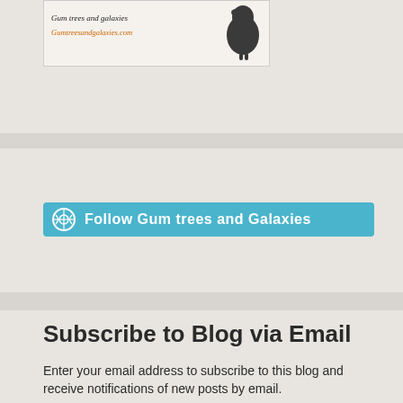[Figure (photo): Blog header image with bird silhouette and website URL Gumtreesandgalaxies.com]
[Figure (other): Follow Gum trees and Galaxies button with WordPress icon on teal background]
Subscribe to Blog via Email
Enter your email address to subscribe to this blog and receive notifications of new posts by email.
Enter your email address